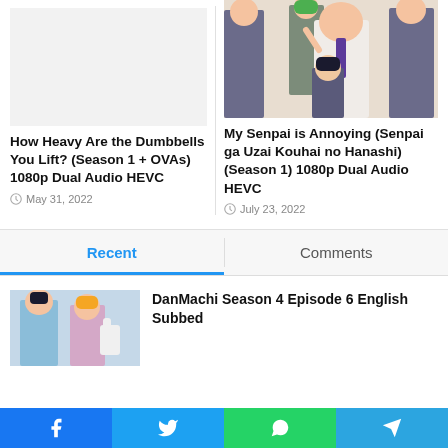[Figure (photo): Placeholder/blank area for anime show card on the left (no image visible)]
How Heavy Are the Dumbbells You Lift? (Season 1 + OVAs) 1080p Dual Audio HEVC
May 31, 2022
[Figure (photo): Anime illustration for My Senpai is Annoying showing characters in office suits]
My Senpai is Annoying (Senpai ga Uzai Kouhai no Hanashi) (Season 1) 1080p Dual Audio HEVC
July 23, 2022
Recent
Comments
[Figure (photo): Anime thumbnail for DanMachi Season 4 Episode 6]
DanMachi Season 4 Episode 6 English Subbed